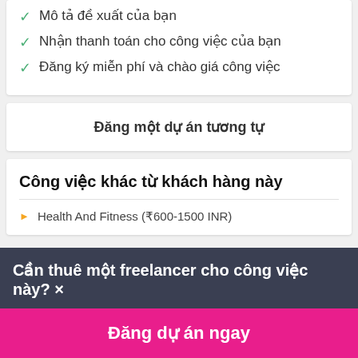Mô tả đề xuất của bạn
Nhận thanh toán cho công việc của bạn
Đăng ký miễn phí và chào giá công việc
Đăng một dự án tương tự
Công việc khác từ khách hàng này
Health And Fitness (₹600-1500 INR)
Cần thuê một freelancer cho công việc này? ×
Đăng dự án ngay